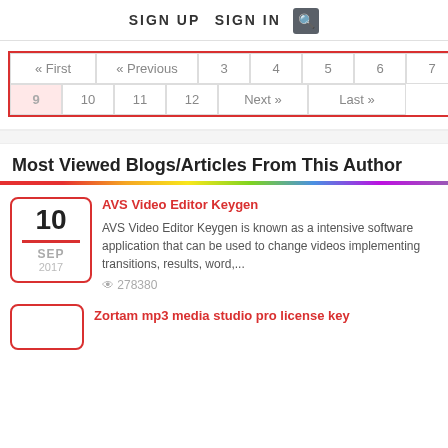SIGN UP  SIGN IN  🔍
[Figure (other): Pagination navigation with red border showing: « First, « Previous, 3, 4, 5, 6, 7, 8 (first row) and 9 (active/highlighted), 10, 11, 12, Next », Last » (second row)]
Most Viewed Blogs/Articles From This Author
AVS Video Editor Keygen
AVS Video Editor Keygen is known as a intensive software application that can be used to change videos implementing transitions, results, word,...
278380
Zortam mp3 media studio pro license key